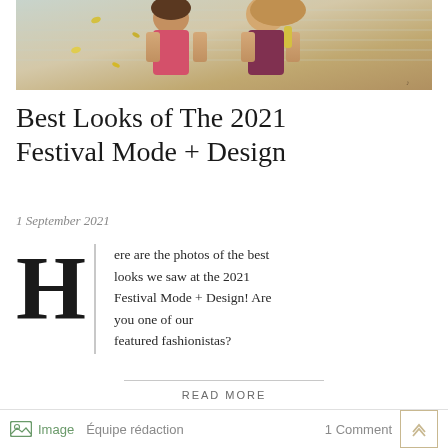[Figure (photo): Two young women at a festival, one holding a drink, colorful summer outfits, outdoor setting]
Best Looks of The 2021 Festival Mode + Design
1 September 2021
Here are the photos of the best looks we saw at the 2021 Festival Mode + Design! Are you one of our featured fashionistas?
READ MORE
Image   Équipe rédaction   1 Comment